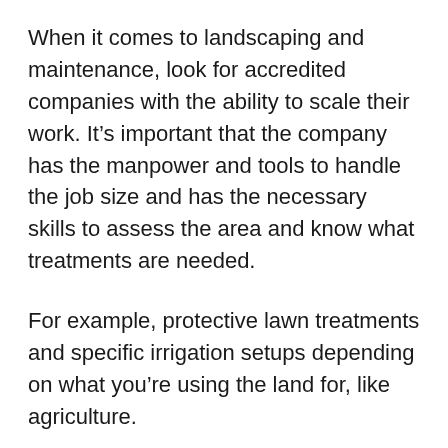When it comes to landscaping and maintenance, look for accredited companies with the ability to scale their work. It’s important that the company has the manpower and tools to handle the job size and has the necessary skills to assess the area and know what treatments are needed.
For example, protective lawn treatments and specific irrigation setups depending on what you’re using the land for, like agriculture.
Land zoning takes place outside of your control. It happens automatically within the governmental system, so all you need to concern yourself with is if your plans